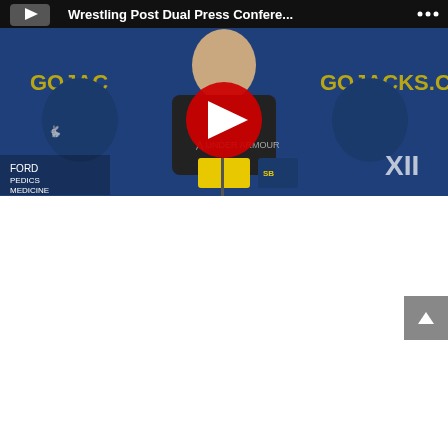[Figure (screenshot): YouTube video thumbnail showing a man in a black Under Armour jacket at a press conference podium with South Dakota State University wrestling branding. Blue backdrop with GOJACKS and GOJACKS.C text and jackrabbit logos. Red YouTube play button overlay. Title bar reads 'Wrestling Post Dual Press Confere...' Big 12 (XII) logo partially visible on right.]
NOTES
South Dakota State has won all six dual meetings against West Virginia in a series dating back to the 2015-16 season
The Jackrabbits improved to 3-0 in home duals this season
The victory was the 30th for SDSU head coach Damion Hahn, who has compiled a 30-24 dual record in his four seasons with the Jackrabbits